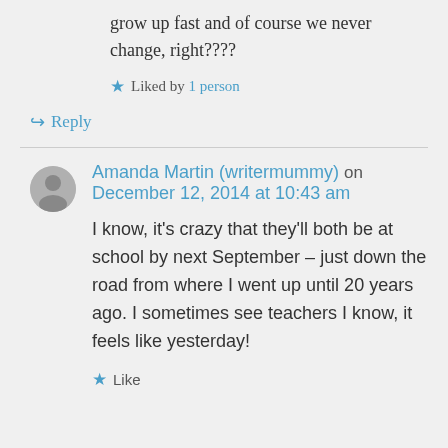grow up fast and of course we never change, right????
Liked by 1 person
Reply
Amanda Martin (writermummy) on December 12, 2014 at 10:43 am
I know, it's crazy that they'll both be at school by next September – just down the road from where I went up until 20 years ago. I sometimes see teachers I know, it feels like yesterday!
Like